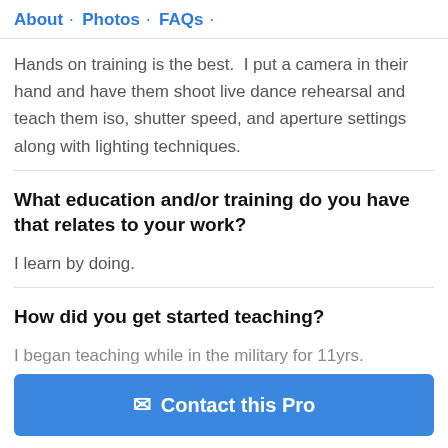About · Photos · FAQs ·
Hands on training is the best.  I put a camera in their hand and have them shoot live dance rehearsal and teach them iso, shutter speed, and aperture settings along with lighting techniques.
What education and/or training do you have that relates to your work?
I learn by doing.
How did you get started teaching?
I began teaching while in the military for 11yrs.
Contact this Pro